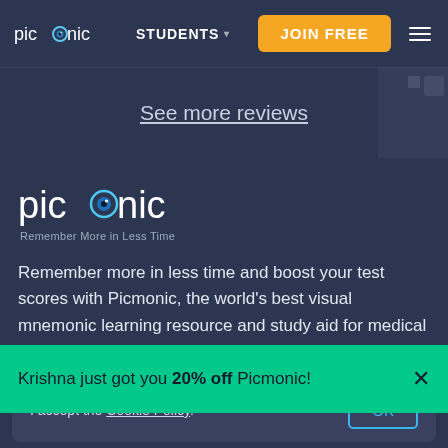picmonic | STUDENTS ▾ | JOIN FREE
See more reviews
[Figure (logo): Picmonic logo with eye icon and tagline 'Remember More in Less Time']
Remember more in less time and boost your test scores with Picmonic, the world's best visual mnemonic learning resource and study aid for medical school, nursing
Krishna just got you 20% off Picmonic!
I accept the Cookie Policy.